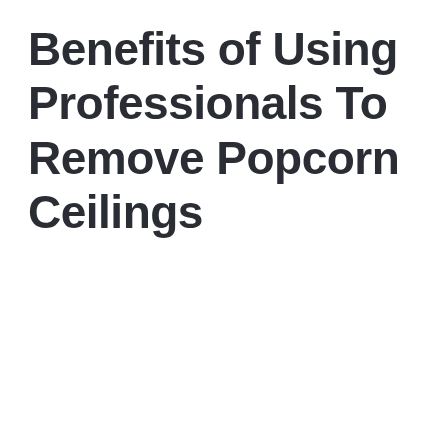Benefits of Using Professionals To Remove Popcorn Ceilings